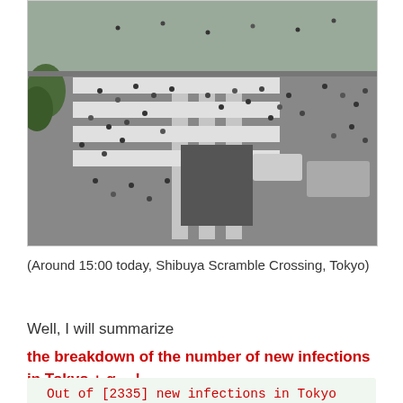[Figure (photo): Aerial view of Shibuya Scramble Crossing in Tokyo with many pedestrians crossing at approximately 15:00]
(Around 15:00 today, Shibuya Scramble Crossing, Tokyo)
Well, I will summarize
the breakdown of the number of new infections in Tokyo + α …!
Out of [2335] new infections in Tokyo